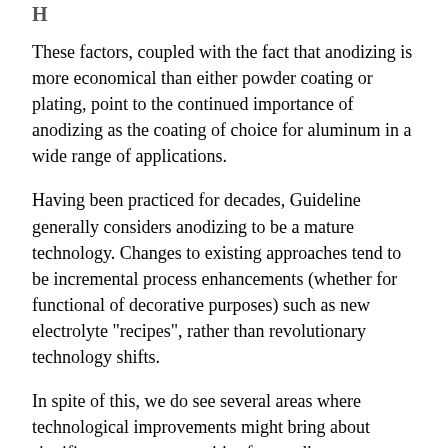These factors, coupled with the fact that anodizing is more economical than either powder coating or plating, point to the continued importance of anodizing as the coating of choice for aluminum in a wide range of applications.
Having been practiced for decades, Guideline generally considers anodizing to be a mature technology. Changes to existing approaches tend to be incremental process enhancements (whether for functional of decorative purposes) such as new electrolyte "recipes", rather than revolutionary technology shifts.
In spite of this, we do see several areas where technological improvements might bring about significant new opportunities for anodizers.
The strongest growth category for anodized aluminum appears to be that of transportation. An expected increase in the production of new aircraft to replace aging fleets and